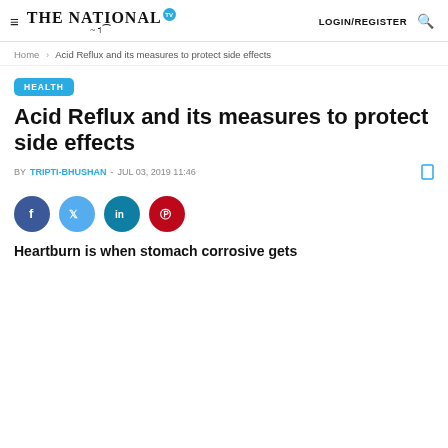THE NATIONAL TV  LOGIN/REGISTER
Home > Acid Reflux and its measures to protect side effects
HEALTH
Acid Reflux and its measures to protect side effects
BY TRIPTI-BHUSHAN - JUL 03, 2019 11:46
[Figure (infographic): Social media share buttons: Facebook (blue), Twitter (light blue), LinkedIn (teal), Pinterest (red)]
Heartburn is when stomach corrosive gets